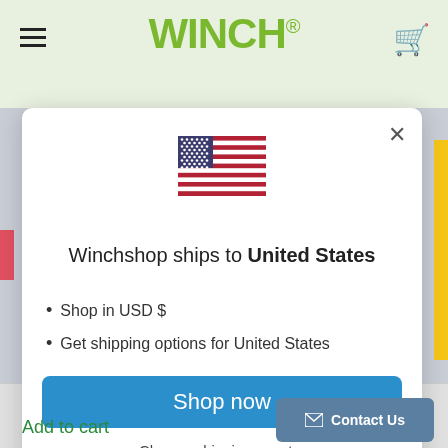[Figure (screenshot): Winchshop website header with logo, hamburger menu, and cart icon on light green background]
[Figure (illustration): US flag SVG icon centered in modal]
Winchshop ships to United States
Shop in USD $
Get shipping options for United States
Shop now
Change shipping country
Add to cart
Contact Us